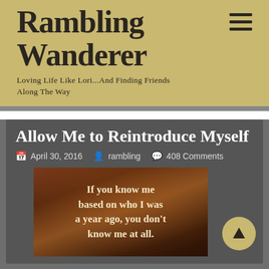Rambling Wanderer
Loving Life Like Lori...And Finding Friends Along The Way
Allow Me to Reintroduce Myself
April 30, 2016   rambling   408 Comments
[Figure (photo): Inspirational quote image with dark brown/rustic background showing text: 'If you know me based on who I was a year ago, you don't know me at all.']